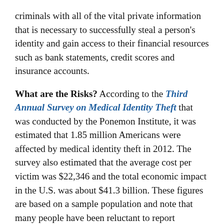criminals with all of the vital private information that is necessary to successfully steal a person's identity and gain access to their financial resources such as bank statements, credit scores and insurance accounts.
What are the Risks? According to the Third Annual Survey on Medical Identity Theft that was conducted by the Ponemon Institute, it was estimated that 1.85 million Americans were affected by medical identity theft in 2012. The survey also estimated that the average cost per victim was $22,346 and the total economic impact in the U.S. was about $41.3 billion. These figures are based on a sample population and note that many people have been reluctant to report incidents of medical identity theft, so the actual impact is likely greater. The cyber attacks that are occurring present new risks to hospitals and healthcare providers. Most healthcare organizations already have security systems in place for maintaining protection of medical information,